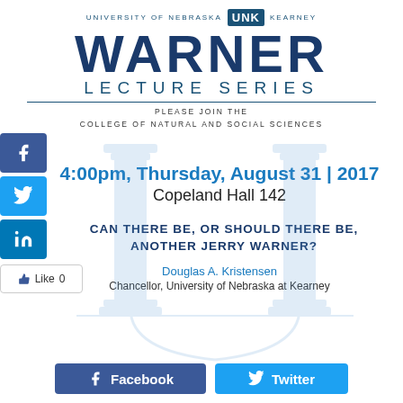UNIVERSITY OF NEBRASKA UNK KEARNEY
WARNER
LECTURE SERIES
PLEASE JOIN THE
COLLEGE OF NATURAL AND SOCIAL SCIENCES
4:00pm, Thursday, August 31 | 2017
Copeland Hall 142
CAN THERE BE, OR SHOULD THERE BE, ANOTHER JERRY WARNER?
Douglas A. Kristensen
Chancellor, University of Nebraska at Kearney
[Figure (other): Social media sidebar with Facebook, Twitter, LinkedIn icons and Like button]
[Figure (illustration): Light blue watermark of two classical columns]
[Figure (other): Bottom Facebook and Twitter share buttons]